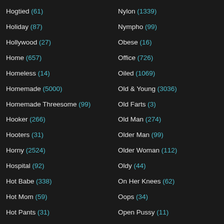Hogtied (61)
Holiday (87)
Hollywood (27)
Home (657)
Homeless (14)
Homemade (5000)
Homemade Threesome (99)
Hooker (266)
Hooters (31)
Horny (2524)
Hospital (92)
Hot Babe (338)
Hot Mom (59)
Hot Pants (31)
Hotel (485)
Nylon (1339)
Nympho (99)
Obese (16)
Office (726)
Oiled (1069)
Old & Young (3036)
Old Farts (3)
Old Man (274)
Older Man (99)
Older Woman (112)
Oldy (44)
On Her Knees (62)
Oops (34)
Open Pussy (11)
Oral (4143)